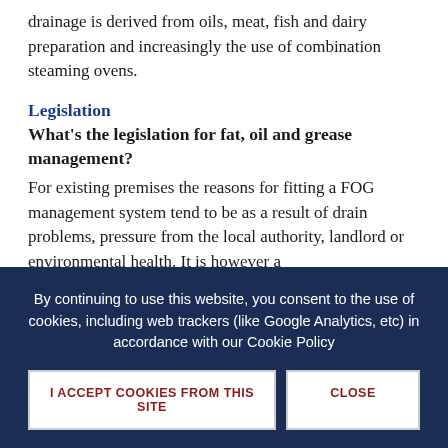drainage is derived from oils, meat, fish and dairy preparation and increasingly the use of combination steaming ovens.
Legislation
What's the legislation for fat, oil and grease management?
For existing premises the reasons for fitting a FOG management system tend to be as a result of drain problems, pressure from the local authority, landlord or environmental health. It is however a
By continuing to use this website, you consent to the use of cookies, including web trackers (like Google Analytics, etc) in accordance with our Cookie Policy
I ACCEPT COOKIES FROM THIS SITE
CLOSE